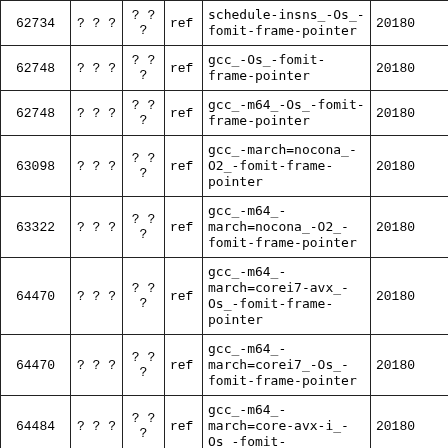| 62734 | ? ? ? | ? ?
? | ref | schedule-insns_-Os_-fomit-frame-pointer | 20180 |
| 62748 | ? ? ? | ? ?
? | ref | gcc_-Os_-fomit-frame-pointer | 20180 |
| 62748 | ? ? ? | ? ?
? | ref | gcc_-m64_-Os_-fomit-frame-pointer | 20180 |
| 63098 | ? ? ? | ? ?
? | ref | gcc_-march=nocona_-O2_-fomit-frame-pointer | 20180 |
| 63322 | ? ? ? | ? ?
? | ref | gcc_-m64_-march=nocona_-O2_-fomit-frame-pointer | 20180 |
| 64470 | ? ? ? | ? ?
? | ref | gcc_-m64_-march=corei7-avx_-Os_-fomit-frame-pointer | 20180 |
| 64470 | ? ? ? | ? ?
? | ref | gcc_-m64_-march=corei7_-Os_-fomit-frame-pointer | 20180 |
| 64484 | ? ? ? | ? ?
? | ref | gcc_-m64_-march=core-avx-i_-Os_-fomit- | 20180 |